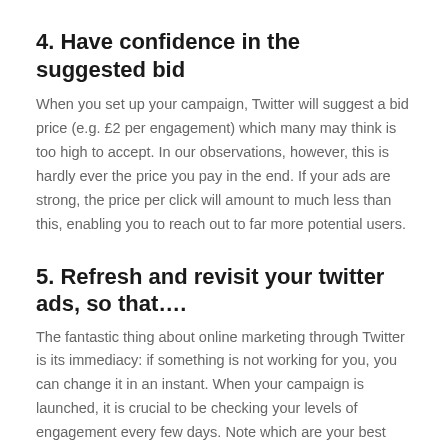4. Have confidence in the suggested bid
When you set up your campaign, Twitter will suggest a bid price (e.g. £2 per engagement) which many may think is too high to accept. In our observations, however, this is hardly ever the price you pay in the end. If your ads are strong, the price per click will amount to much less than this, enabling you to reach out to far more potential users.
5. Refresh and revisit your twitter ads, so that….
The fantastic thing about online marketing through Twitter is its immediacy: if something is not working for you, you can change it in an instant. When your campaign is launched, it is crucial to be checking your levels of engagement every few days. Note which are your best performing tweets and consider why. This can then give you an important insight into the kind of messages that people are connecting with – a valuable tool in your social